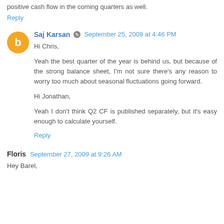positive cash flow in the coming quarters as well.
Reply
Saj Karsan  September 25, 2009 at 4:46 PM
Hi Chris,

Yeah the best quarter of the year is behind us, but because of the strong balance sheet, I'm not sure there's any reason to worry too much about seasonal fluctuations going forward.

Hi Jonathan,

Yeah I don't think Q2 CF is published separately, but it's easy enough to calculate yourself.
Reply
Floris  September 27, 2009 at 9:26 AM
Hey Barel,